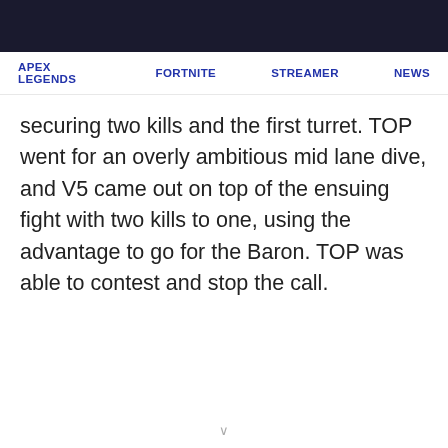APEX LEGENDS   FORTNITE   STREAMER   NEWS
securing two kills and the first turret. TOP went for an overly ambitious mid lane dive, and V5 came out on top of the ensuing fight with two kills to one, using the advantage to go for the Baron. TOP was able to contest and stop the call.